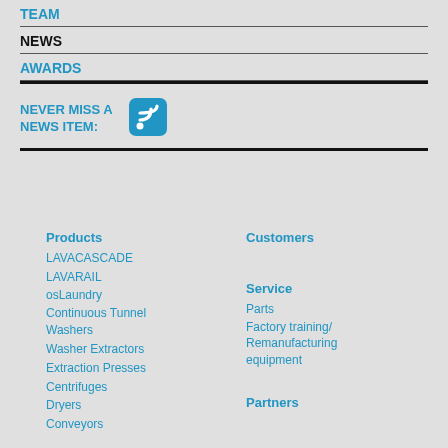TEAM
NEWS
AWARDS
NEVER MISS A NEWS ITEM:
[Figure (illustration): RSS feed icon — rounded square with blue background and white WiFi/RSS symbol]
Products
LAVACASCADE
LAVARAIL
osLaundry
Continuous Tunnel Washers
Washer Extractors
Extraction Presses
Centrifuges
Dryers
Conveyors
Customers
Service
Parts
Factory training/ Remanufacturing equipment
Partners